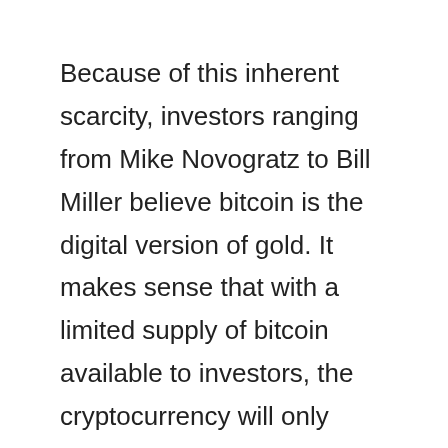Because of this inherent scarcity, investors ranging from Mike Novogratz to Bill Miller believe bitcoin is the digital version of gold. It makes sense that with a limited supply of bitcoin available to investors, the cryptocurrency will only become more valuable the closer we get to the last bitcoin ever mined.
Jack Mallers also believes bitcoin is a form